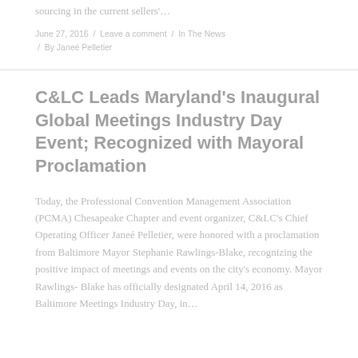sourcing in the current sellers'…
June 27, 2016  /  Leave a comment  /  In The News  /  By Janeé Pelletier
C&LC Leads Maryland's Inaugural Global Meetings Industry Day Event; Recognized with Mayoral Proclamation
Today, the Professional Convention Management Association (PCMA) Chesapeake Chapter and event organizer, C&LC's Chief Operating Officer Janeé Pelletier, were honored with a proclamation from Baltimore Mayor Stephanie Rawlings-Blake, recognizing the positive impact of meetings and events on the city's economy. Mayor Rawlings- Blake has officially designated April 14, 2016 as Baltimore Meetings Industry Day, in…